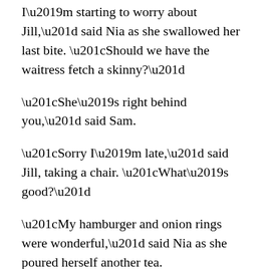I'm starting to worry about Jill,” said Nia as she swallowed her last bite. “Should we have the waitress fetch a skinny?"
“She’s right behind you,” said Sam.
“Sorry I’m late,” said Jill, taking a chair. “What’s good?”
“My hamburger and onion rings were wonderful,” said Nia as she poured herself another tea.
“You’re all right?” said Sam as she wiped her mouth and parked her napkin under her plate so that the breeze wouldn’t take it.